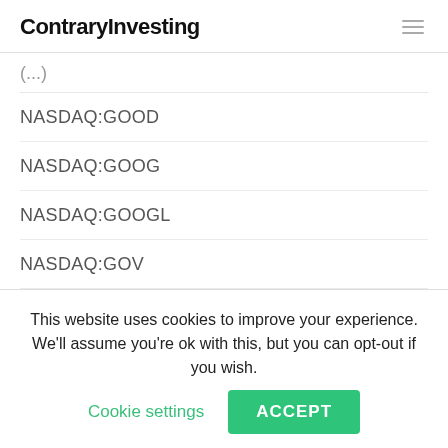ContraryInvesting
NASDAQ:GOOD
NASDAQ:GOOG
NASDAQ:GOOGL
NASDAQ:GOV
NASDAQ:HAS
NASDAQ:HBNC
NASDAQ:HNDL
NASDAQ:HPT
This website uses cookies to improve your experience. We'll assume you're ok with this, but you can opt-out if you wish. Cookie settings ACCEPT